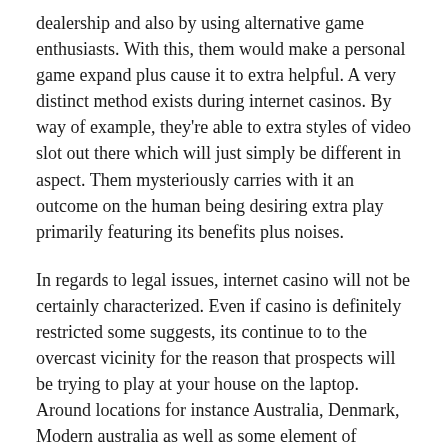dealership and also by using alternative game enthusiasts. With this, them would make a personal game expand plus cause it to extra helpful. A very distinct method exists during internet casinos. By way of example, they're able to extra styles of video slot out there which will just simply be different in aspect. Them mysteriously carries with it an outcome on the human being desiring extra play primarily featuring its benefits plus noises.
In regards to legal issues, internet casino will not be certainly characterized. Even if casino is definitely restricted some suggests, its continue to to the overcast vicinity for the reason that prospects will be trying to play at your house on the laptop. Around locations for instance Australia, Denmark, Modern australia as well as some element of Quebec, its legalised to begin internet casinos. The main thing to reflect upon is definitely that must be